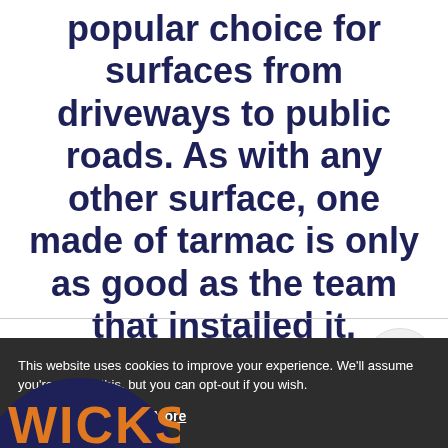popular choice for surfaces from driveways to public roads. As with any other surface, one made of tarmac is only as good as the team that installed it.
[Figure (logo): Partial logo visible at bottom of page, orange text 'WICKS' on dark circular background]
This website uses cookies to improve your experience. We'll assume you're ok with this, but you can opt-out if you wish. Accept Read More